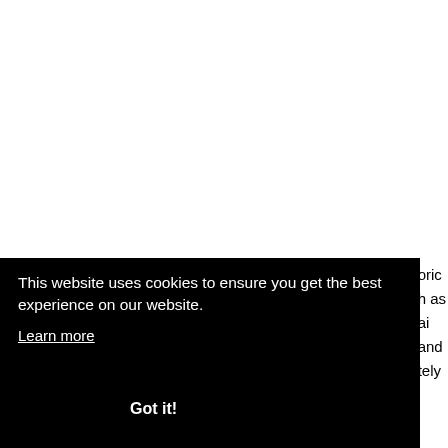[Figure (screenshot): Cookie consent banner overlay on a webpage. Black banner with white text reading 'This website uses cookies to ensure you get the best experience on our website.' with a 'Learn more' link and a 'Got it!' button. Partially visible page text visible on the right side and bottom.]
This website uses cookies to ensure you get the best experience on our website.
Learn more
Got it!
different to their Western counterparts.